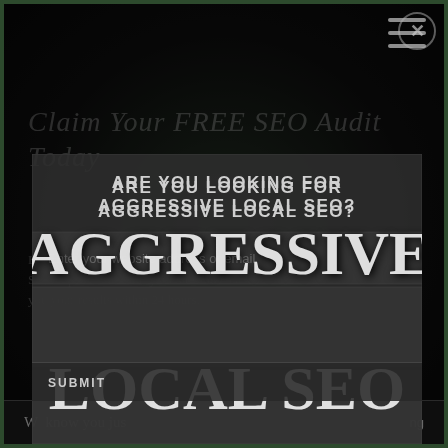Claim Your FREE SEO Audit Today
ARE YOU LOOKING FOR AGGRESSIVE LOCAL SEO?
Enter your website live local search. Our SEO experts will audit your site and email you your results within 24 hours.
[Figure (screenshot): Modal popup overlay on dark webpage background showing 'Aggressive Local SEO' handwritten text over input form fields with submit button]
AGGRESSIVE
LOCAL SEO
SUBMIT
We know you just
ng